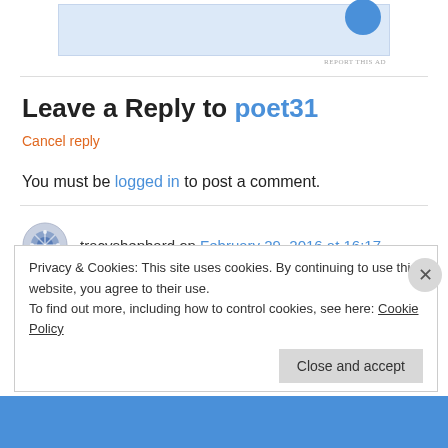[Figure (other): Advertisement banner at top with blue circular icon]
Leave a Reply to poet31
Cancel reply
You must be logged in to post a comment.
tracyshephard on February 29, 2016 at 16:17
Privacy & Cookies: This site uses cookies. By continuing to use this website, you agree to their use.
To find out more, including how to control cookies, see here: Cookie Policy
Close and accept